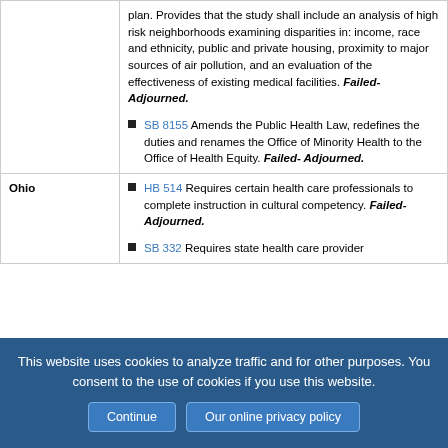| State | Legislation |
| --- | --- |
|  | plan. Provides that the study shall include an analysis of high risk neighborhoods examining disparities in: income, race and ethnicity, public and private housing, proximity to major sources of air pollution, and an evaluation of the effectiveness of existing medical facilities. Failed- Adjourned.

SB 8155 Amends the Public Health Law, redefines the duties and renames the Office of Minority Health to the Office of Health Equity. Failed- Adjourned. |
| Ohio | HB 514 Requires certain health care professionals to complete instruction in cultural competency. Failed- Adjourned.

SB 332 Requires state health care provider... |
This website uses cookies to analyze traffic and for other purposes. You consent to the use of cookies if you use this website. Continue | Our online privacy policy